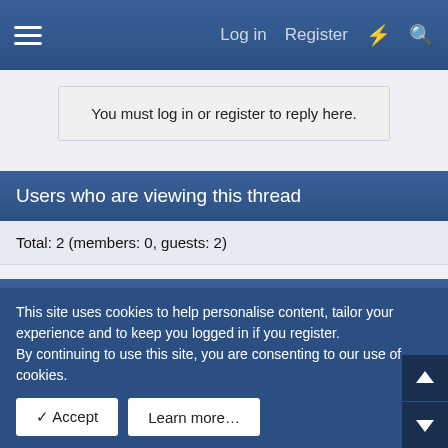Log in  Register
You must log in or register to reply here.
Users who are viewing this thread
Total: 2 (members: 0, guests: 2)
Similar threads
Anyone used Prestige Car Servicing in Clifton, Bristol?
This site uses cookies to help personalise content, tailor your experience and to keep you logged in if you register.
By continuing to use this site, you are consenting to our use of cookies.